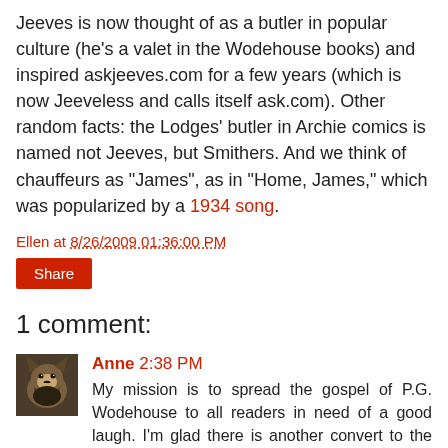Jeeves is now thought of as a butler in popular culture (he's a valet in the Wodehouse books) and inspired askjeeves.com for a few years (which is now Jeeveless and calls itself ask.com). Other random facts: the Lodges' butler in Archie comics is named not Jeeves, but Smithers. And we think of chauffeurs as "James", as in "Home, James," which was popularized by a 1934 song.
Ellen at 8/26/2009 01:36:00 PM
Share
1 comment:
[Figure (photo): Small avatar photo of a German Shepherd dog]
Anne 2:38 PM
My mission is to spread the gospel of P.G. Wodehouse to all readers in need of a good laugh. I'm glad there is another convert to the world of Jeeves and Wooster. Lord Emsworth, of Blandings Castle, is another P.G. series worth reading. or anything really by the Master.